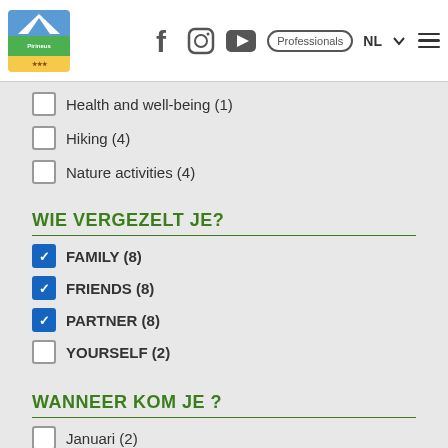Pirineus logo | f | Instagram | YouTube | Professionals | NL | menu
Health and well-being (1)
Hiking (4)
Nature activities (4)
WIE VERGEZELT JE?
FAMILY (8) — checked
FRIENDS (8) — checked
PARTNER (8) — checked
YOURSELF (2)
WANNEER KOM JE ?
Januari (2)
April (2)
(partially visible item)